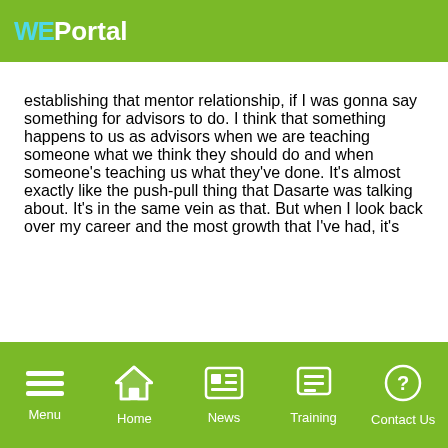WEPortal
establishing that mentor relationship, if I was gonna say something for advisors to do. I think that something happens to us as advisors when we are teaching someone what we think they should do and when someone's teaching us what they've done. It's almost exactly like the push-pull thing that Dasarte was talking about. It's in the same vein as that. But when I look back over my career and the most growth that I've had, it's
Menu  Home  News  Training  Contact Us